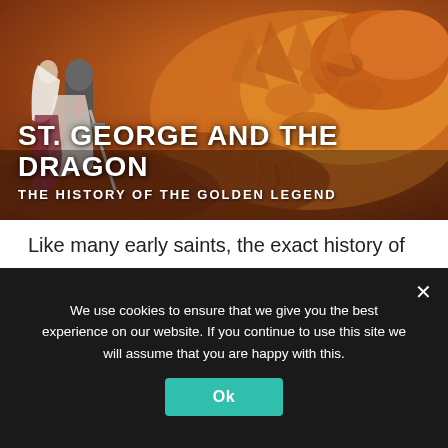[Figure (illustration): Painting of St. George (a knight in armor with a red cross) and a princess in white veil standing before a large orange dragon. The title 'ST. GEORGE AND THE DRAGON' and subtitle 'THE HISTORY OF THE GOLDEN LEGEND' are overlaid on the image.]
Like many early saints, the exact history of St. George remains a mystery. The most famous story is 'St. George and The Dragon', which is said to originate from the 13th-century legend: 'The Golden Legend'. where [...]
We use cookies to ensure that we give you the best experience on our website. If you continue to use this site we will assume that you are happy with this.